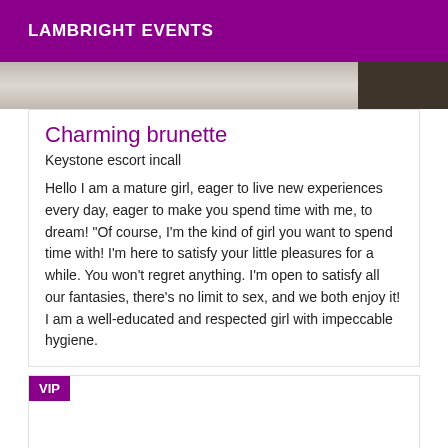LAMBRIGHT EVENTS
[Figure (photo): Partial photo strip showing a light-colored background on the left and a dark figure on the right]
Charming brunette
Keystone escort incall
Hello I am a mature girl, eager to live new experiences every day, eager to make you spend time with me, to dream! "Of course, I'm the kind of girl you want to spend time with! I'm here to satisfy your little pleasures for a while. You won't regret anything. I'm open to satisfy all our fantasies, there's no limit to sex, and we both enjoy it! I am a well-educated and respected girl with impeccable hygiene.
VIP